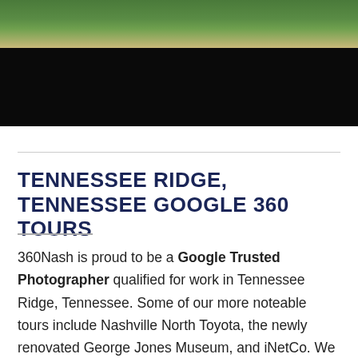[Figure (photo): Partial outdoor photo showing green grass/turf at the top and a large black/dark area below, appearing to be a cropped aerial or ground-level view.]
TENNESSEE RIDGE, TENNESSEE GOOGLE 360 TOURS
360Nash is proud to be a Google Trusted Photographer qualified for work in Tennessee Ridge, Tennessee. Some of our more noteable tours include Nashville North Toyota, the newly renovated George Jones Museum, and iNetCo. We usually shoot the tour in an afternoon or a